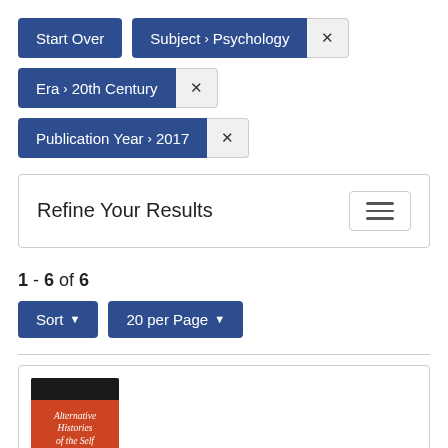[Figure (screenshot): Filter tag: 'Start Over' button (blue)]
[Figure (screenshot): Filter tag: 'Subject > Psychology' with close button]
[Figure (screenshot): Filter tag: 'Era > 20th Century' with close button]
[Figure (screenshot): Filter tag: 'Publication Year > 2017' with close button]
Refine Your Results
1 - 6 of 6
[Figure (screenshot): Sort and 20 per Page dropdown buttons]
[Figure (illustration): Book cover: Alternative Histories of the Self (red/orange cover with dark bar at top)]